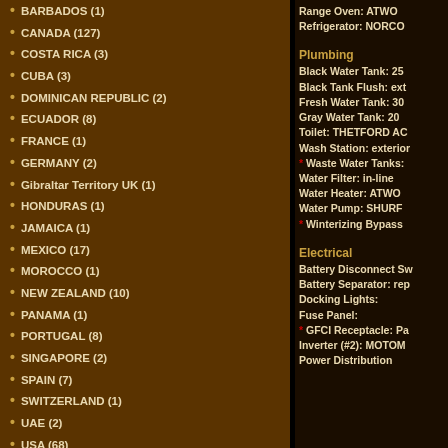BARBADOS (1)
CANADA (127)
COSTA RICA (3)
CUBA (3)
DOMINICAN REPUBLIC (2)
ECUADOR (8)
FRANCE (1)
GERMANY (2)
Gibraltar Territory UK (1)
HONDURAS (1)
JAMAICA (1)
MEXICO (17)
MOROCCO (1)
NEW ZEALAND (10)
PANAMA (1)
PORTUGAL (8)
SINGAPORE (2)
SPAIN (7)
SWITZERLAND (1)
UAE (2)
USA (68)
VENEZUELA (3)
Plumbing
Black Water Tank: 25
Black Tank Flush: ext
Fresh Water Tank: 30
Gray Water Tank: 20
Toilet: THETFORD AC
Wash Station: exterior
* Waste Water Tanks:
Water Filter: in-line
Water Heater: ATWO
Water Pump: SHURF
* Winterizing Bypass
Electrical
Battery Disconnect Sw
Battery Separator: rep
Docking Lights:
Fuse Panel:
* GFCI Receptacle: Pa
Inverter (#2): MOTOM
Power Distribution